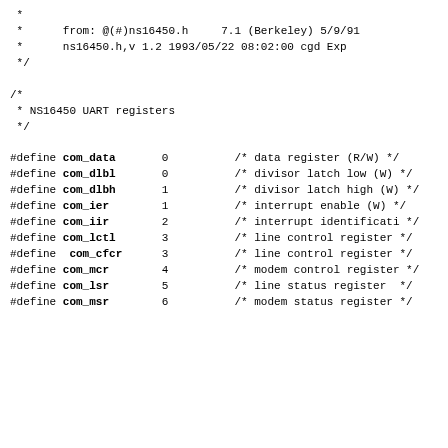*
 *      from: @(#)ns16450.h     7.1 (Berkeley) 5/9/91
 *      ns16450.h,v 1.2 1993/05/22 08:02:00 cgd Exp
 */
/*
 * NS16450 UART registers
 */
#define com_data       0          /* data register (R/W) */
#define com_dlbl       0          /* divisor latch low (W) */
#define com_dlbh       1          /* divisor latch high (W) */
#define com_ier        1          /* interrupt enable (W) */
#define com_iir        2          /* interrupt identification */
#define com_lctl       3          /* line control register */
#define  com_cfcr      3          /* line control register */
#define com_mcr        4          /* modem control register */
#define com_lsr        5          /* line status register */
#define com_msr        6          /* modem status register */